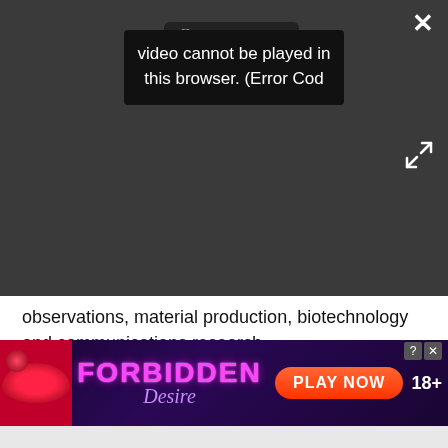[Figure (screenshot): Video player showing error message 'Video cannot be played in this browser. (Error Cod' with a PLAY SOUND button and close/expand controls on a dark background]
observations, material production, biotechnology and communications research.
The experiments are overseen by Japanese mission control at the Space Station Operations Facility at Tsukuba Space Center in Ibaraki Prefecture, Japan.
SPACE.com will provide complete coverage of Endeavour's STS-127 mission to the International Space Station with Staff Writer Clara Moskowitz in
[Figure (screenshot): Advertisement banner for 'FORBIDDEN Desire' game with PLAY NOW button, 18+ rating, on purple background with lips image]